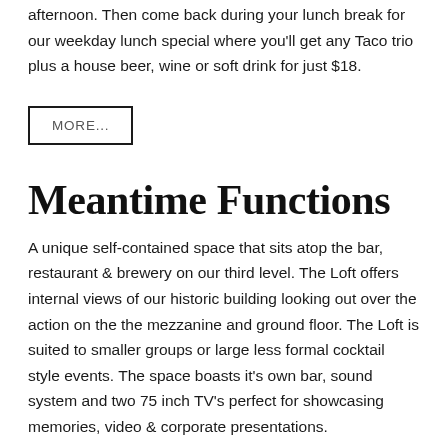afternoon. Then come back during your lunch break for our weekday lunch special where you'll get any Taco trio plus a house beer, wine or soft drink for just $18.
MORE...
Meantime Functions
A unique self-contained space that sits atop the bar, restaurant & brewery on our third level. The Loft offers internal views of our historic building looking out over the action on the the mezzanine and ground floor. The Loft is suited to smaller groups or large less formal cocktail style events. The space boasts it's own bar, sound system and two 75 inch TV's perfect for showcasing memories, video & corporate presentations.
MORE...